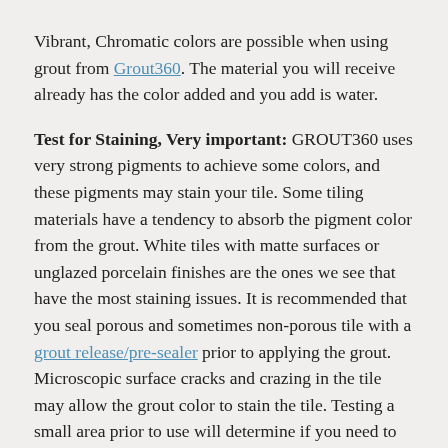Vibrant, Chromatic colors are possible when using grout from Grout360. The material you will receive already has the color added and you add is water.
Test for Staining, Very important: GROUT360 uses very strong pigments to achieve some colors, and these pigments may stain your tile. Some tiling materials have a tendency to absorb the pigment color from the grout. White tiles with matte surfaces or unglazed porcelain finishes are the ones we see that have the most staining issues. It is recommended that you seal porous and sometimes non-porous tile with a grout release/pre-sealer prior to applying the grout. Microscopic surface cracks and crazing in the tile may allow the grout color to stain the tile. Testing a small area prior to use will determine if you need to pre-seal your tiles. If your tile does stain after testing, send us an email asking about the